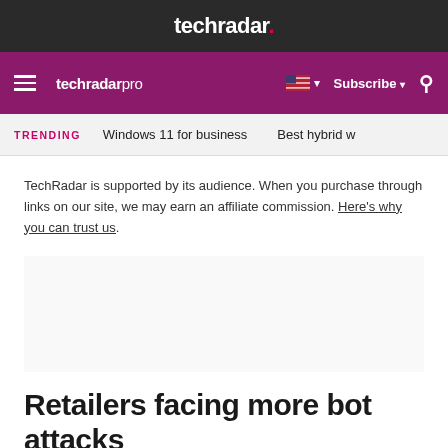techradar.
techradar pro  Subscribe
TRENDING  Windows 11 for business  Best hybrid w
TechRadar is supported by its audience. When you purchase through links on our site, we may earn an affiliate commission. Here's why you can trust us.
Retailers facing more bot attacks th